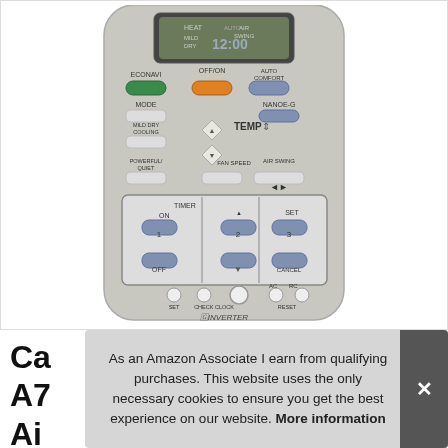[Figure (photo): Air conditioner remote control (Panasonic Inverter style) showing display, ECONAVI, OFF/ON, AUTO COMFORT, MODE, NANOE-G, TEMP up/down, MILD DRY COOLING, POWERFUL/QUIET, FAN SPEED, AIR SWING, TIMER ON/OFF controls with numbered buttons 1, 2, 3, SET, CANCEL, and SET CHECK CLOCK RESET buttons at bottom.]
Ca A7 Ai
As an Amazon Associate I earn from qualifying purchases. This website uses the only necessary cookies to ensure you get the best experience on our website. More information